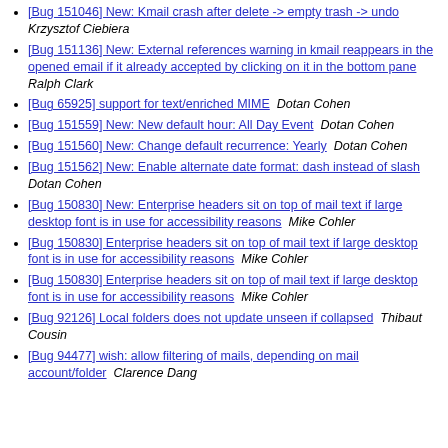[Bug 151046] New: Kmail crash after delete -> empty trash -> undo  Krzysztof Ciebiera
[Bug 151136] New: External references warning in kmail reappears in the opened email if it already accepted by clicking on it in the bottom pane  Ralph Clark
[Bug 65925] support for text/enriched MIME  Dotan Cohen
[Bug 151559] New: New default hour: All Day Event  Dotan Cohen
[Bug 151560] New: Change default recurrence: Yearly  Dotan Cohen
[Bug 151562] New: Enable alternate date format: dash instead of slash  Dotan Cohen
[Bug 150830] New: Enterprise headers sit on top of mail text if large desktop font is in use for accessibility reasons  Mike Cohler
[Bug 150830] Enterprise headers sit on top of mail text if large desktop font is in use for accessibility reasons  Mike Cohler
[Bug 150830] Enterprise headers sit on top of mail text if large desktop font is in use for accessibility reasons  Mike Cohler
[Bug 92126] Local folders does not update unseen if collapsed  Thibaut Cousin
[Bug 94477] wish: allow filtering of mails, depending on mail account/folder  Clarence Dang